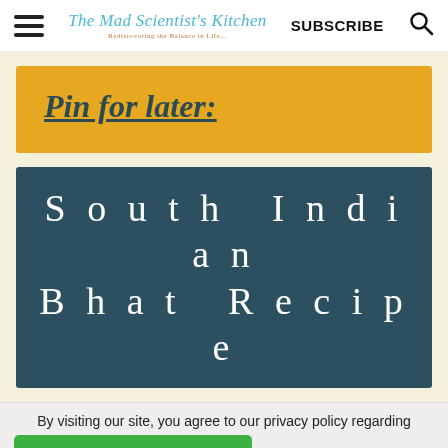The Mad Scientist's Kitchen | SUBSCRIBE
Pin for later:
South Indian Bhat Recipe
By visiting our site, you agree to our privacy policy regarding
LEARN MORE
Take Control of Your Health
Ad